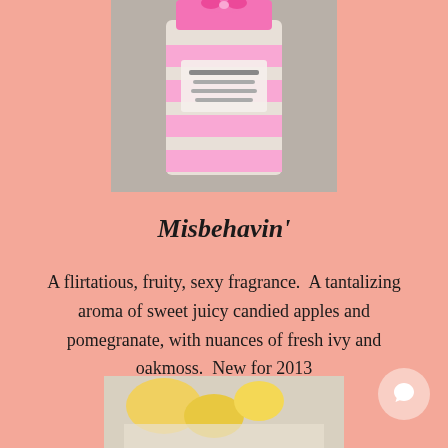[Figure (photo): A pink fragrance or lotion bottle/container with pink striped label, photographed against a blurred background]
Misbehavin'
A flirtatious, fruity, sexy fragrance.  A tantalizing aroma of sweet juicy candied apples and pomegranate, with nuances of fresh ivy and oakmoss.  New for 2013
[Figure (photo): Bottom portion of a yellow product or item, partially visible at bottom of page]